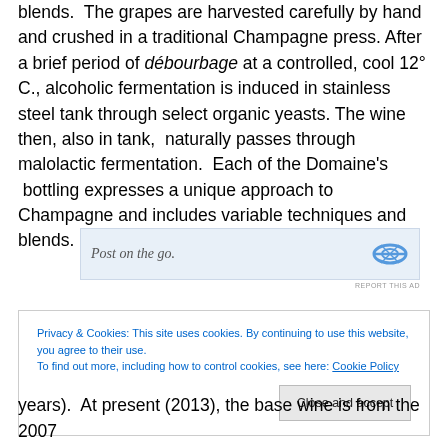blends.  The grapes are harvested carefully by hand and crushed in a traditional Champagne press. After a brief period of débourbage at a controlled, cool 12° C., alcoholic fermentation is induced in stainless steel tank through select organic yeasts. The wine then, also in tank,  naturally passes through malolactic fermentation.  Each of the Domaine's  bottling expresses a unique approach to Champagne and includes variable techniques and blends.
[Figure (screenshot): Advertisement banner with text 'Post on the go.' and a logo icon on the right side with blue background]
REPORT THIS AD
Privacy & Cookies: This site uses cookies. By continuing to use this website, you agree to their use.
To find out more, including how to control cookies, see here: Cookie Policy
Close and accept
years).  At present (2013), the base wine is from the 2007